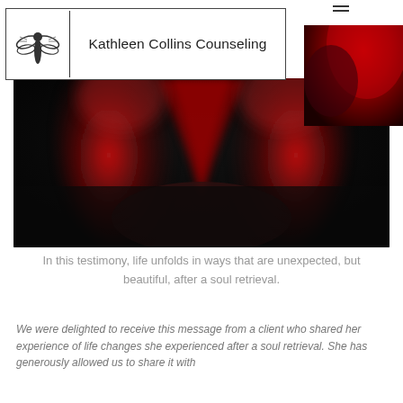Kathleen Collins Counseling
[Figure (photo): A close-up abstract photo showing red and dark/black shapes, possibly flower petals or fabric, with a blurred bokeh background.]
In this testimony, life unfolds in ways that are unexpected, but beautiful, after a soul retrieval.
We were delighted to receive this message from a client who shared her experience of life changes she experienced after a soul retrieval. She has generously allowed us to share it with